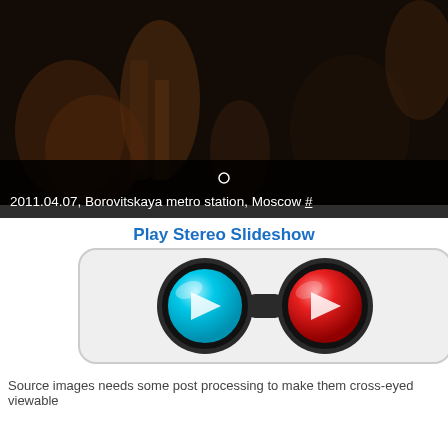[Figure (photo): Dark photograph taken at Borovitskaya metro station, Moscow on 2011.04.07, showing blurry figures in a dimly lit underground setting]
2011.04.07, Borovitskaya metro station, Moscow #
Play Stereo Slideshow
[Figure (illustration): Stereo slideshow play button showing two circular orbs (blue and red) styled like 3D glasses with play triangles inside]
Source images needs some post processing to make them cross-eyed viewable